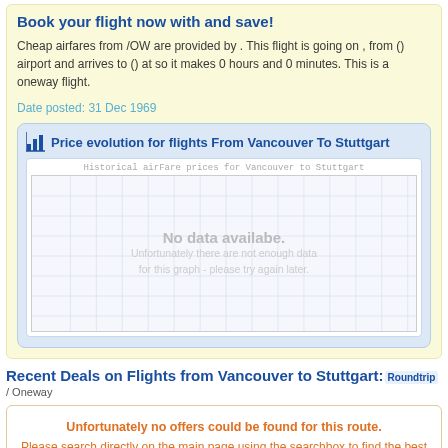Book your flight now with and save!
Cheap airfares from /OW are provided by . This flight is going on , from () airport and arrives to () at so it makes 0 hours and 0 minutes. This is a oneway flight.
Date posted: 31 Dec 1969
Price evolution for flights From Vancouver To Stuttgart
[Figure (other): Chart area showing 'Historical airFare prices for Vancouver to Stuttgart' with grid lines and a message: No data availabe. Unfortunately there are not enough data for this graph - please try again later.]
Recent Deals on Flights from Vancouver to Stuttgart: Roundtrip / Oneway
Unfortunately no offers could be found for this route. Please search directly on the main page using the searchbox to find the best flights.